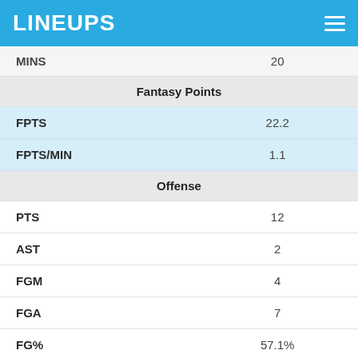LINEUPS
| Stat | Value |
| --- | --- |
| MINS | 20 |
| Fantasy Points |  |
| FPTS | 22.2 |
| FPTS/MIN | 1.1 |
| Offense |  |
| PTS | 12 |
| AST | 2 |
| FGM | 4 |
| FGA | 7 |
| FG% | 57.1% |
| 3PM | 4 |
| 3PA | 7 |
| 3P% | 57.1% |